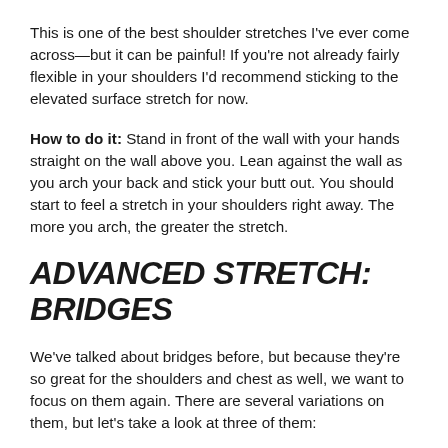This is one of the best shoulder stretches I've ever come across—but it can be painful! If you're not already fairly flexible in your shoulders I'd recommend sticking to the elevated surface stretch for now.
How to do it: Stand in front of the wall with your hands straight on the wall above you. Lean against the wall as you arch your back and stick your butt out. You should start to feel a stretch in your shoulders right away. The more you arch, the greater the stretch.
ADVANCED STRETCH: BRIDGES
We've talked about bridges before, but because they're so great for the shoulders and chest as well, we want to focus on them again. There are several variations on them, but let's take a look at three of them: